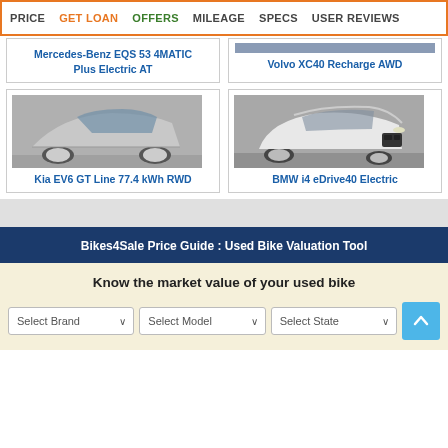PRICE | GET LOAN | OFFERS | MILEAGE | SPECS | USER REVIEWS
Mercedes-Benz EQS 53 4MATIC Plus Electric AT
Volvo XC40 Recharge AWD
[Figure (photo): Kia EV6 GT Line 77.4 kWh RWD - silver electric car side profile]
Kia EV6 GT Line 77.4 kWh RWD
[Figure (photo): BMW i4 eDrive40 Electric - white luxury electric sedan front 3/4 view]
BMW i4 eDrive40 Electric
Bikes4Sale Price Guide : Used Bike Valuation Tool
Know the market value of your used bike
Select Brand
Select Model
Select State